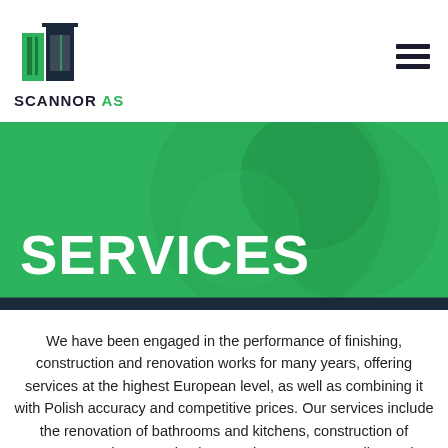[Figure (logo): Scannor AS logo — a stylized building/door icon in green and dark navy, with the text SCANNOR AS below it]
SERVICES
We have been engaged in the performance of finishing, construction and renovation works for many years, offering services at the highest European level, as well as combining it with Polish accuracy and competitive prices. Our services include the renovation of bathrooms and kitchens, construction of garages, gazebos or stairs, but we also carry out smaller works, such as spackling and painting. We